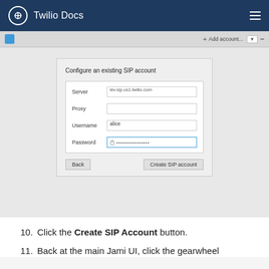Twilio Docs
[Figure (screenshot): Screenshot of Jami application showing 'Configure an existing SIP account' dialog with fields: Server (lev.sip.us1.twilio.com), Proxy (empty), Username (alice), Password (dots). Back and Create SIP account buttons visible.]
10. Click the Create SIP Account button.
11. Back at the main Jami UI, click the gearwheel